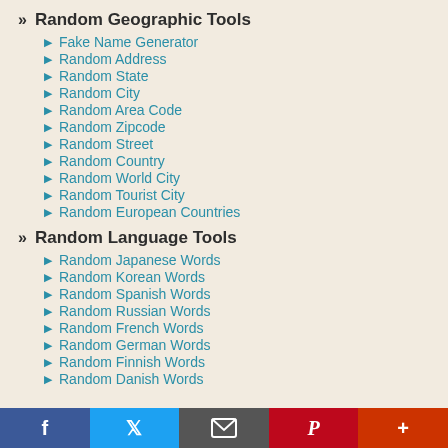Random Geographic Tools
Fake Name Generator
Random Address
Random State
Random City
Random Area Code
Random Zipcode
Random Street
Random Country
Random World City
Random Tourist City
Random European Countries
Random Language Tools
Random Japanese Words
Random Korean Words
Random Spanish Words
Random Russian Words
Random French Words
Random German Words
Random Finnish Words
Random Danish Words
Social share bar: Facebook, Twitter, Mail, Pinterest, More